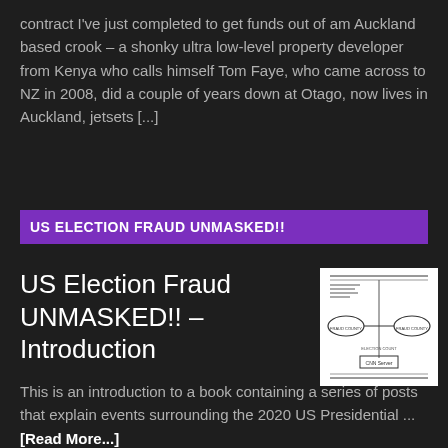contract I've just completed to get funds out of am Auckland based crook – a shonky ultra low-level property developer from Kenya who calls himself Tom Faye, who came across to NZ in 2008, did a couple of years down at Otago, now lives in Auckland, jetsets [...]
US ELECTION FRAUD UNMASKED!!
US Election Fraud UNMASKED!! – Introduction
[Figure (schematic): A schematic diagram showing an election fraud flowchart with oval and rectangular shapes connected by lines, on white background]
This is an introduction to a book containing a series of posts that explain events surrounding the 2020 US Presidential ... [Read More...]